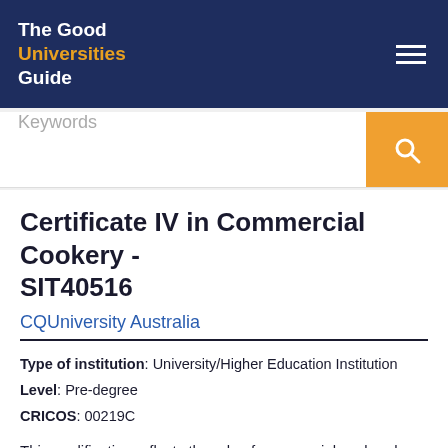The Good Universities Guide
Keywords
Certificate IV in Commercial Cookery - SIT40516
CQUniversity Australia
Type of institution: University/Higher Education Institution
Level: Pre-degree
CRICOS: 00219C
This qualification reflects the role of commercial cooks who have a supervisory or team leading role in the kitchen. They operate independently or with limited guidance from others and sometimes direct and supervise...